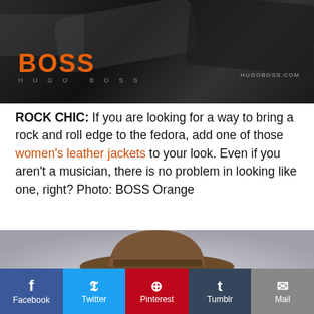[Figure (photo): Black and white BOSS Hugo Boss advertisement photo showing dark moody image with BOSS Orange logo in orange text and HUGOBOSS.COM URL]
ROCK CHIC: If you are looking for a way to bring a rock and roll edge to the fedora, add one of those women's leather jackets to your look. Even if you aren't a musician, there is no problem in looking like one, right? Photo: BOSS Orange
[Figure (photo): Photo of a woman wearing a brown fedora hat, grey background, close-up portrait]
Facebook  Twitter  Pinterest  Tumblr  Mail